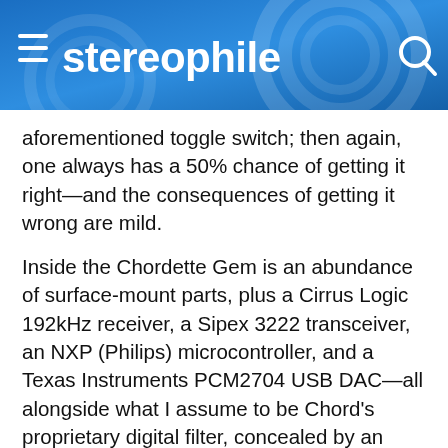stereophile
aforementioned toggle switch; then again, one always has a 50% chance of getting it right—and the consequences of getting it wrong are mild.
Inside the Chordette Gem is an abundance of surface-mount parts, plus a Cirrus Logic 192kHz receiver, a Sipex 3222 transceiver, an NXP (Philips) microcontroller, and a Texas Instruments PCM2704 USB DAC—all alongside what I assume to be Chord's proprietary digital filter, concealed by an attractive aluminum plate. (Chord is one of the few companies in perfectionist audio that can claim to have designed its own digital filter: a technically impressive FPGA, the development of which led to